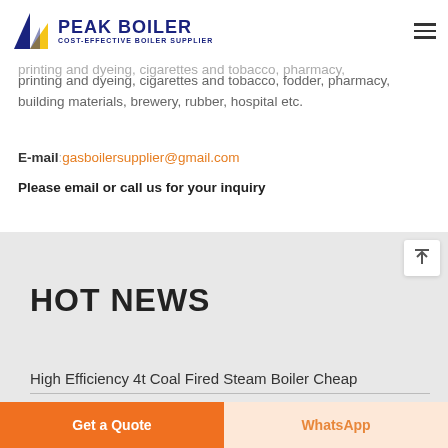PEAK BOILER — COST-EFFECTIVE BOILER SUPPLIER
printing and dyeing, cigarettes and tobacco, fodder, pharmacy, building materials, brewery, rubber, hospital etc.
E-mail: gasboilersupplier@gmail.com
Please email or call us for your inquiry
HOT NEWS
High Efficiency 4t Coal Fired Steam Boiler Cheap
Get a Quote
WhatsApp